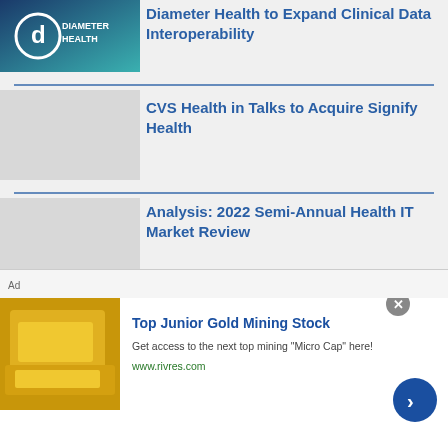[Figure (logo): Diameter Health logo with blue and teal background showing letter d and text DIAMETER HEALTH]
Diameter Health to Expand Clinical Data Interoperability
CVS Health in Talks to Acquire Signify Health
Analysis: 2022 Semi-Annual Health IT Market Review
Report: How Apple Is
[Figure (photo): Gold bars/nuggets advertisement image for Top Junior Gold Mining Stock]
Top Junior Gold Mining Stock
Get access to the next top mining "Micro Cap" here!
www.rivres.com